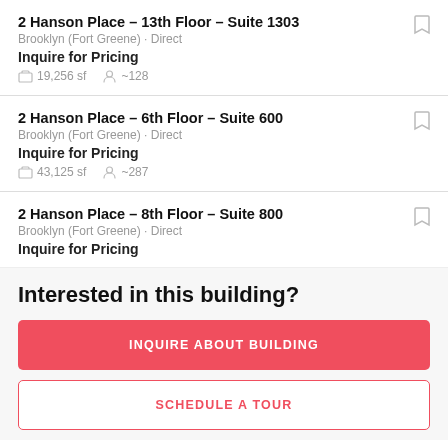2 Hanson Place - 13th Floor - Suite 1303
Brooklyn (Fort Greene) · Direct
Inquire for Pricing
19,256 sf   ~128
2 Hanson Place - 6th Floor - Suite 600
Brooklyn (Fort Greene) · Direct
Inquire for Pricing
43,125 sf   ~287
2 Hanson Place - 8th Floor - Suite 800
Brooklyn (Fort Greene) · Direct
Inquire for Pricing
Interested in this building?
INQUIRE ABOUT BUILDING
SCHEDULE A TOUR